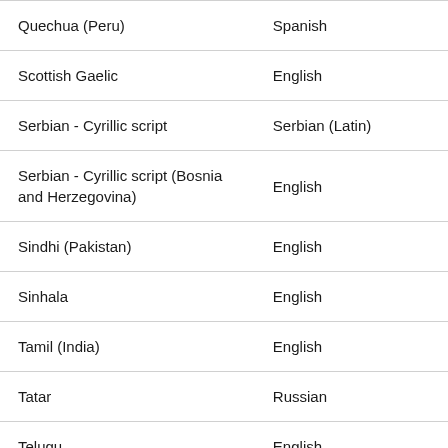| Quechua (Peru) | Spanish |
| Scottish Gaelic | English |
| Serbian - Cyrillic script | Serbian (Latin) |
| Serbian - Cyrillic script (Bosnia and Herzegovina) | English |
| Sindhi (Pakistan) | English |
| Sinhala | English |
| Tamil (India) | English |
| Tatar | Russian |
| Telugu | English |
| Turkmen | Russian |
| Urdu | English |